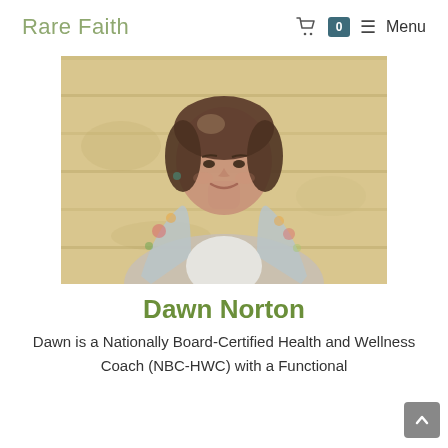Rare Faith
[Figure (photo): Portrait photo of Dawn Norton, a woman with shoulder-length brown hair, smiling, wearing a floral blouse, standing in front of a light-colored wooden wall background.]
Dawn Norton
Dawn is a Nationally Board-Certified Health and Wellness Coach (NBC-HWC) with a Functional